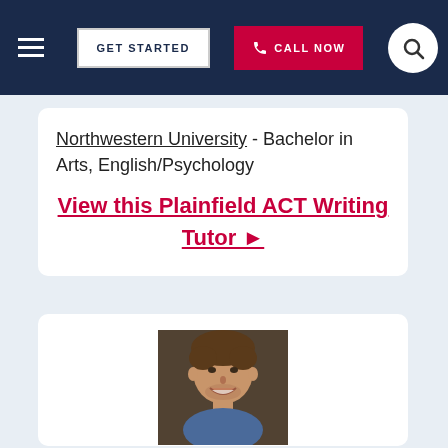GET STARTED | CALL NOW
Northwestern University - Bachelor in Arts, English/Psychology
View this Plainfield ACT Writing Tutor ►
[Figure (photo): Portrait photo of a young man with brown hair, smiling, wearing a blue shirt]